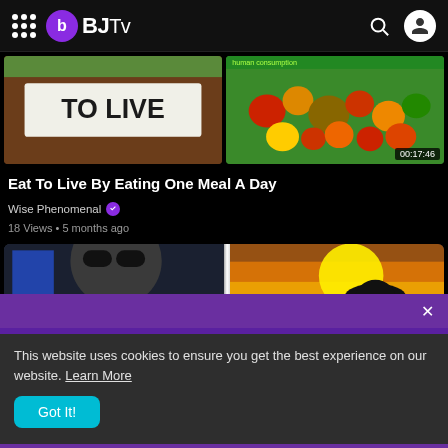BJTv
[Figure (screenshot): Video thumbnail showing 'TO LIVE' text on brown background with fruit graphics]
[Figure (screenshot): Video thumbnail showing colorful fruits and vegetables with '00:17:46' duration label]
Eat To Live By Eating One Meal A Day
Wise Phenomenal
18 Views • 5 months ago
[Figure (screenshot): Video thumbnail split: left side shows man with sunglasses in black-and-white, right side shows sunset over water]
This website uses cookies to ensure you get the best experience on our website. Learn More
Got It!